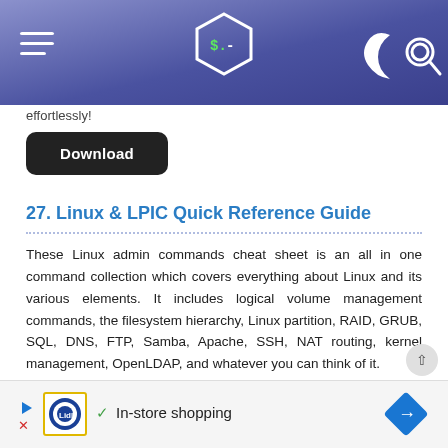[Figure (screenshot): Website header bar with purple/blue gradient background, hamburger menu on left, hexagonal terminal logo in center with '$.‐' text, moon and search icons on right]
effortlessly!
Download
27. Linux & LPIC Quick Reference Guide
These Linux admin commands cheat sheet is an all in one command collection which covers everything about Linux and its various elements. It includes logical volume management commands, the filesystem hierarchy, Linux partition, RAID, GRUB, SQL, DNS, FTP, Samba, Apache, SSH, NAT routing, kernel management, OpenLDAP, and whatever you can think of it.
[Figure (screenshot): Advertisement banner showing Lidl logo, checkmark with 'In-store shopping' text, and blue navigation arrow icon]